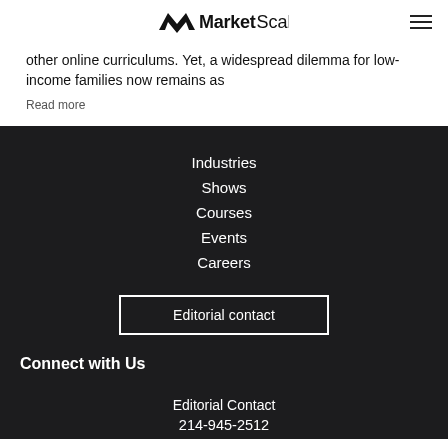MarketScale
other online curriculums. Yet, a widespread dilemma for low-income families now remains as
Read more
Industries
Shows
Courses
Events
Careers
Editorial contact
Connect with Us
Editorial Contact
214-945-2512